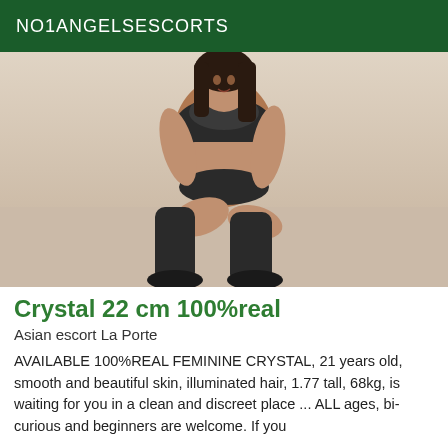NO1ANGELSESCORTS
[Figure (photo): Young woman with long dark hair posing seated on a floor, wearing dark lingerie and dark thigh-high stockings, against a light-colored wall.]
Crystal 22 cm 100%real
Asian escort La Porte
AVAILABLE 100%REAL FEMININE CRYSTAL, 21 years old, smooth and beautiful skin, illuminated hair, 1.77 tall, 68kg, is waiting for you in a clean and discreet place ... ALL ages, bi-curious and beginners are welcome. If you